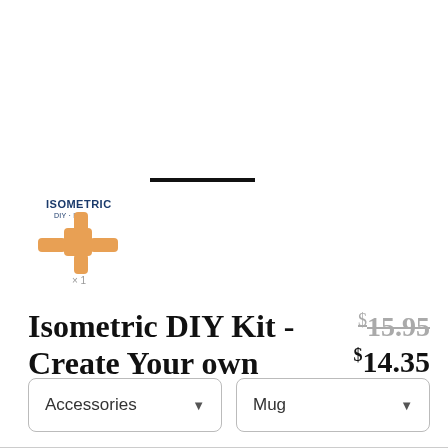[Figure (logo): Isometric DIY Kit product logo with orange cross/plus shape and text 'ISOMETRIC DIY KIT' with 'x1' label]
Isometric DIY Kit - Create Your own Dimension
$15.95 (strikethrough) $14.35
Accessories (dropdown)
Mug (dropdown)